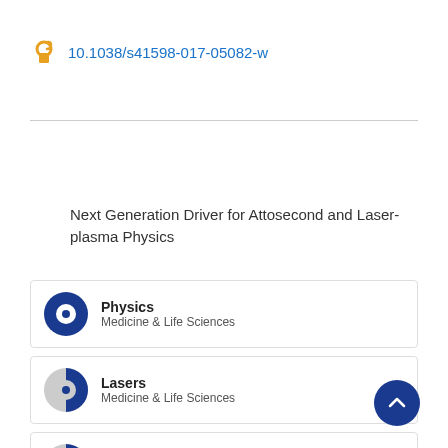10.1038/s41598-017-05082-w
[Figure (logo): Open access lock icon in orange/gold color]
[Figure (logo): Springer Nature spiral logo in gray]
Next Generation Driver for Attosecond and Laser-plasma Physics
Physics — Medicine & Life Sciences
Lasers — Medicine & Life Sciences
Electrons